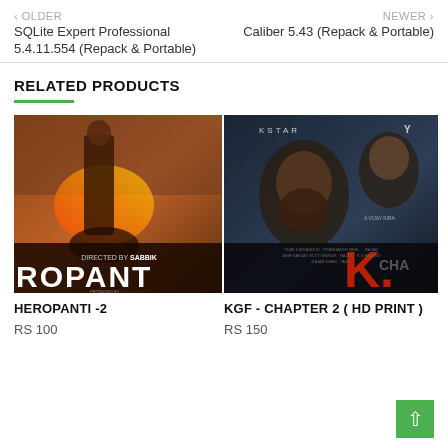< OLDER
SQLite Expert Professional 5.4.11.554 (Repack & Portable)
NEWER >
Caliber 5.43 (Repack & Portable)
RELATED PRODUCTS
[Figure (photo): Movie poster for Heropanti 2 showing an action hero on a motorcycle with fire effects. Text reads DIRECTED BY SABBIK and ROPANT at the bottom.]
HEROPANTI -2
RS 100
[Figure (photo): Movie poster for KGF Chapter 2 showing two men, one with a beard. Text reads KSTAR, KGF, CHA at the bottom with production credits.]
KGF - CHAPTER 2 ( HD PRINT )
RS 150